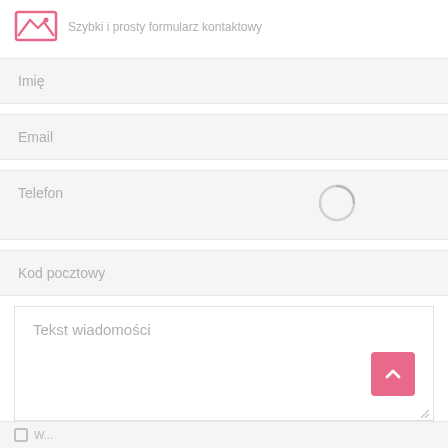[Figure (logo): Pink envelope icon (mail/letter symbol) with pink outline and mountain image inside]
Szybki i prosty formularz kontaktowy
Imię
Email
Telefon
[Figure (other): Loading spinner circle overlay in grey]
Kod pocztowy
Tekst wiadomości
[Figure (other): Pink scroll-to-top button with upward chevron arrow]
[Figure (other): Resize handle in bottom-right corner of textarea]
W...